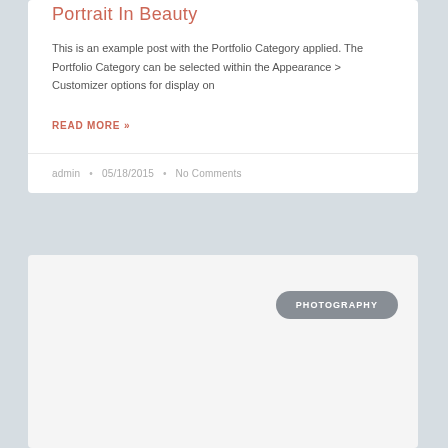Portrait In Beauty
This is an example post with the Portfolio Category applied. The Portfolio Category can be selected within the Appearance > Customizer options for display on
READ MORE »
admin • 05/18/2015 • No Comments
[Figure (other): Empty card area with a PHOTOGRAPHY badge/label in the top right corner]